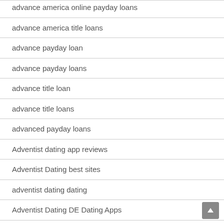advance america online payday loans
advance america title loans
advance payday loan
advance payday loans
advance title loan
advance title loans
advanced payday loans
Adventist dating app reviews
Adventist Dating best sites
adventist dating dating
Adventist Dating DE Dating Apps
adventist dating reviews
adventist dating sign in